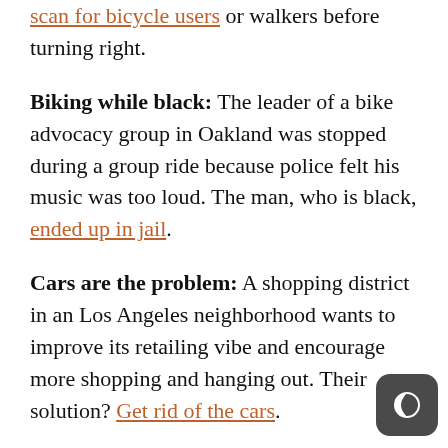scan for bicycle users or walkers before turning right.
Biking while black: The leader of a bike advocacy group in Oakland was stopped during a group ride because police felt his music was too loud. The man, who is black, ended up in jail.
Cars are the problem: A shopping district in an Los Angeles neighborhood wants to improve its retailing vibe and encourage more shopping and hanging out. Their solution? Get rid of the cars.
From parking to housing: An architect writing for Fast Company has great ideas on how cities can build parking garages that are future-proof and be easily adapted into useful things like housing.